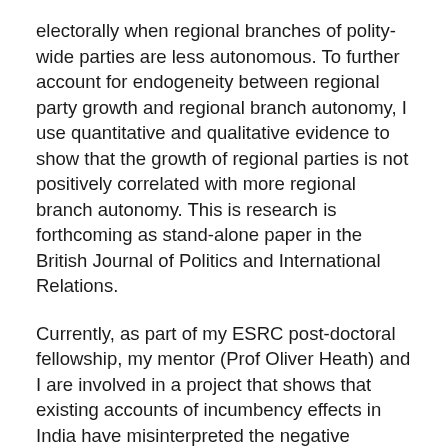electorally when regional branches of polity-wide parties are less autonomous. To further account for endogeneity between regional party growth and regional branch autonomy, I use quantitative and qualitative evidence to show that the growth of regional parties is not positively correlated with more regional branch autonomy. This is research is forthcoming as stand-alone paper in the British Journal of Politics and International Relations.
Currently, as part of my ESRC post-doctoral fellowship, my mentor (Prof Oliver Heath) and I are involved in a project that shows that existing accounts of incumbency effects in India have misinterpreted the negative estimates to imply anti-incumbency. In contrast, we show that Indian political parties and voters are acting rational by rewarding a stronger pool of candidates as opposed to penalising incumbency. We start by replicating past research that has used Regression Discontinuity Design (RDDs) to establish